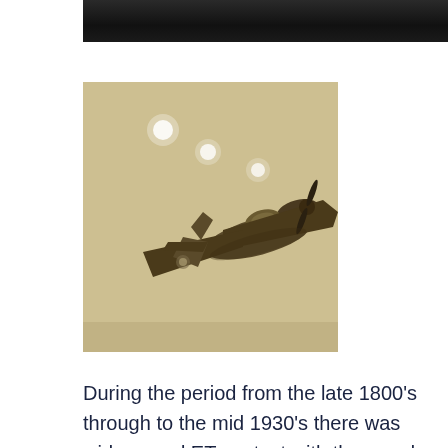[Figure (photo): Dark photograph at top of page, appears to show aircraft or vehicles in low light]
[Figure (photo): Sepia-toned vintage photograph of a WWII-era propeller fighter aircraft (likely P-51 Mustang) in flight, with glowing orbs/lights visible in the sky above it]
During the period from the late 1800's through to the mid 1930's there was widespread ET contact with thousands of people and also with government